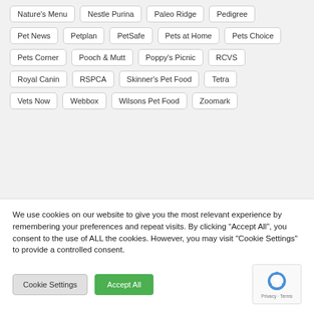Nature's Menu
Nestle Purina
Paleo Ridge
Pedigree
Pet News
Petplan
PetSafe
Pets at Home
Pets Choice
Pets Corner
Pooch & Mutt
Poppy's Picnic
RCVS
Royal Canin
RSPCA
Skinner's Pet Food
Tetra
Vets Now
Webbox
Wilsons Pet Food
Zoomark
We use cookies on our website to give you the most relevant experience by remembering your preferences and repeat visits. By clicking “Accept All”, you consent to the use of ALL the cookies. However, you may visit "Cookie Settings" to provide a controlled consent.
Cookie Settings
Accept All